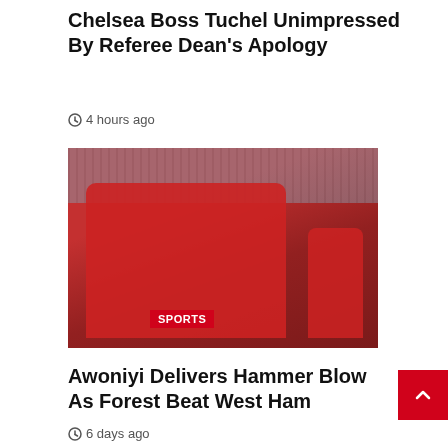Chelsea Boss Tuchel Unimpressed By Referee Dean's Apology
⊙ 4 hours ago
[Figure (photo): Football players in red Nottingham Forest jerseys celebrating on the pitch, with crowd in background. A 'SPORTS' badge in red is overlaid top-left. '3 min read' badge overlaid bottom-left.]
Awoniyi Delivers Hammer Blow As Forest Beat West Ham
⊙ 6 days ago